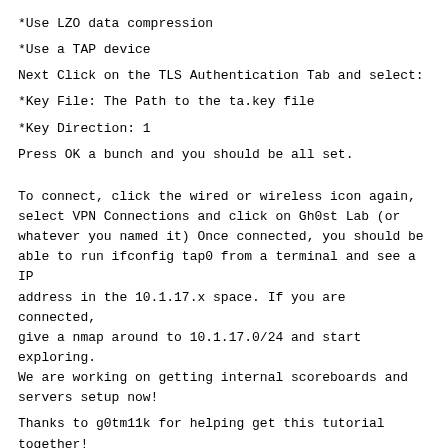*Use LZO data compression
*Use a TAP device
Next Click on the TLS Authentication Tab and select:
*Key File: The Path to the ta.key file
*Key Direction: 1
Press OK a bunch and you should be all set.
To connect, click the wired or wireless icon again, select VPN Connections and click on Gh0st Lab (or whatever you named it) Once connected, you should be able to run ifconfig tap0 from a terminal and see a IP address in the 10.1.17.x space. If you are connected, give a nmap around to 10.1.17.0/24 and start exploring. We are working on getting internal scoreboards and servers setup now!
Thanks to g0tm11k for helping get this tutorial together!
==Setting up Pre-loaded VM==
We currently have pre-configured a Kali boxes that are already to roll. Both a x86 and x64 version are